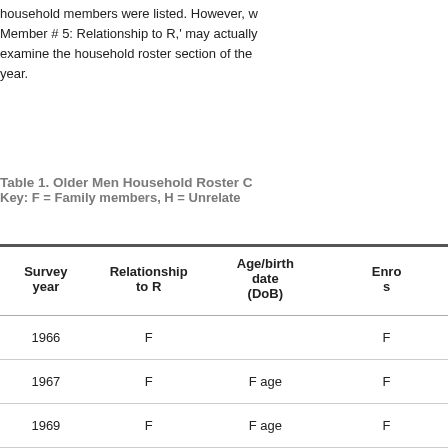household members were listed. However, w... Member # 5: Relationship to R,' may actually... examine the household roster section of the... year.
Table 1. Older Men Household Roster C... Key: F = Family members, H = Unrelate...
| Survey year | Relationship to R | Age/birth date (DoB) | Enro... s... |
| --- | --- | --- | --- |
| 1966 | F |  | F |
| 1967 | F | F age | F |
| 1969 | F | F age | F |
| 1971 | F | F age | F |